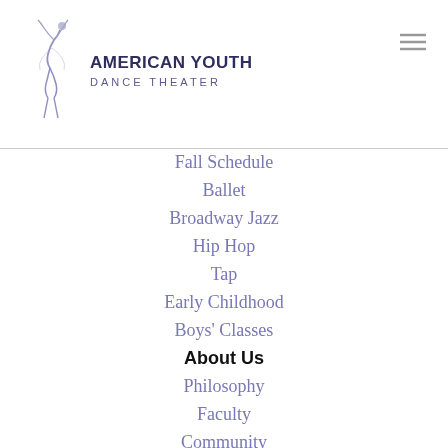[Figure (logo): American Youth Dance Theater logo with dancer silhouette in purple/blue tones and organization name text]
Fall Schedule
Ballet
Broadway Jazz
Hip Hop
Tap
Early Childhood
Boys' Classes
About Us
Philosophy
Faculty
Community